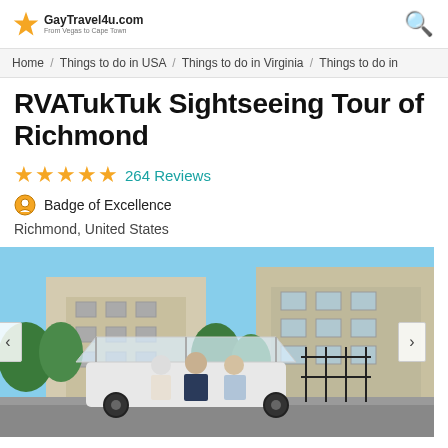GayTravel4u.com
Home / Things to do in USA / Things to do in Virginia / Things to do in
RVATukTuk Sightseeing Tour of Richmond
★★★★★ 264 Reviews
Badge of Excellence
Richmond, United States
[Figure (photo): Three women standing in front of a TukTuk vehicle on a city street in Richmond, with a large stone building and trees in the background on a sunny day.]